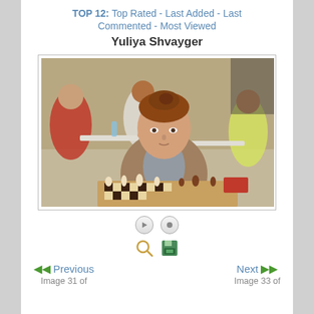TOP 12: Top Rated - Last Added - Last Commented - Most Viewed
Yuliya Shvayger
[Figure (photo): Yuliya Shvayger, a young woman with auburn hair pulled back, wearing a beige/tan blazer, sitting at a chess board during a tournament. Other players visible in background.]
Previous   Image 31 of
Next   Image 33 of